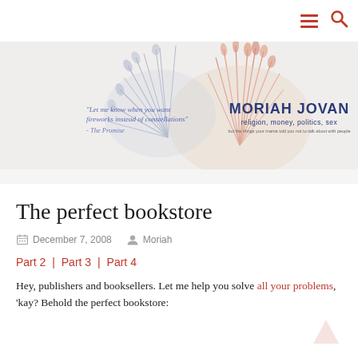[Figure (logo): Moriah Jovan blog header banner with fireworks illustration, handwritten quote 'Let me know when you want fireworks instead of constellations' - The Promise, and site title MORIAH JOVAN with tagline religion, money, politics, sex]
The perfect bookstore
December 7, 2008  Moriah
Part 2 | Part 3 | Part 4
Hey, publishers and booksellers. Let me help you solve all your problems, 'kay? Behold the perfect bookstore: